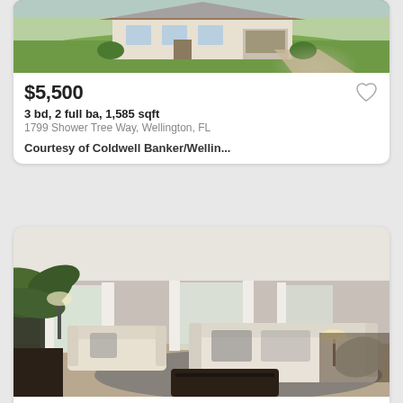[Figure (photo): Exterior photo of a house with green lawn and driveway, partially cropped at top]
$5,500
3 bd, 2 full ba, 1,585 sqft
1799 Shower Tree Way, Wellington, FL
Courtesy of Coldwell Banker/Wellin...
[Figure (photo): Interior photo of a living room with white sofas, large plant, lamps, and large windows with white curtains]
$5,500